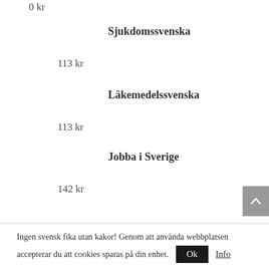0 kr
Sjukdomssvenska
113 kr
Läkemedelssvenska
113 kr
Jobba i Sverige
142 kr
Ingen svensk fika utan kakor! Genom att använda webbplatsen accepterar du att cookies sparas på din enhet.